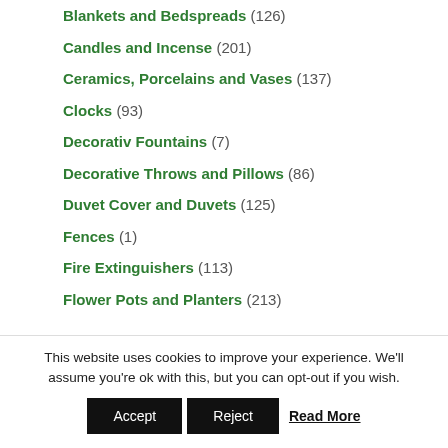Blankets and Bedspreads (126)
Candles and Incense (201)
Ceramics, Porcelains and Vases (137)
Clocks (93)
Decorativ Fountains (7)
Decorative Throws and Pillows (86)
Duvet Cover and Duvets (125)
Fences (1)
Fire Extinguishers (113)
Flower Pots and Planters (213)
This website uses cookies to improve your experience. We'll assume you're ok with this, but you can opt-out if you wish. Accept Reject Read More